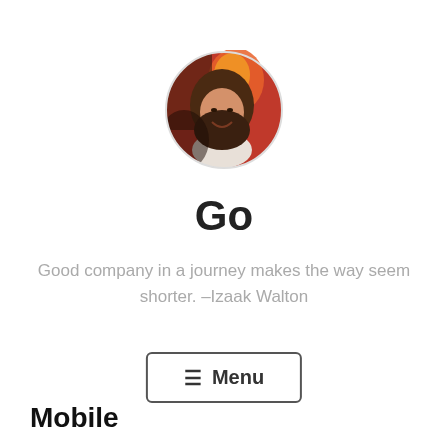[Figure (photo): Circular profile photo of a smiling woman with warm reddish/orange background lighting]
Go
Good company in a journey makes the way seem shorter. –Izaak Walton
≡  Menu
Mobile